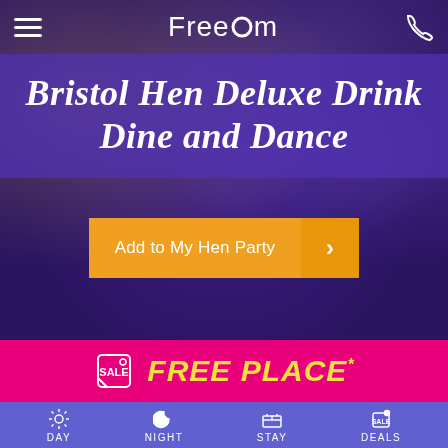[Figure (screenshot): Mobile app screenshot for Freedom Hen Party website showing a dancing crowd background with purple overlay]
Freedom
Bristol Hen Deluxe Drink Dine and Dance
Add to My Hen Party
FREE PLACE*
DAY  NIGHT  STAY  DEALS